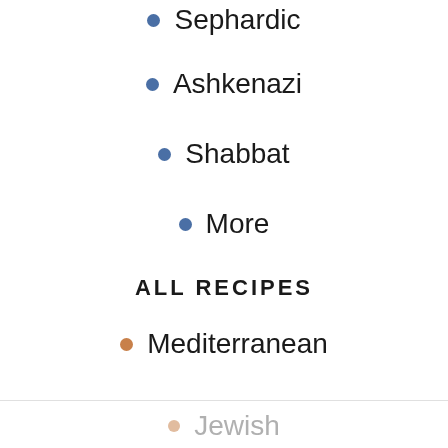• Sephardic
• Ashkenazi
• Shabbat
• More
ALL RECIPES
• Mediterranean
• Jewish